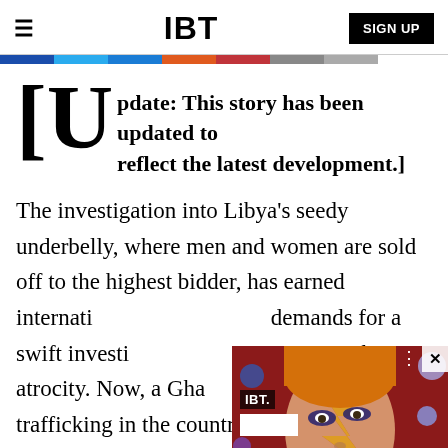IBT | SIGN UP
[Update: This story has been updated to reflect the latest development.]
The investigation into Libya's seedy underbelly, where men and women are sold off to the highest bidder, has earned international attention with demands for a swift investigation into the human rights atrocity. Now, a Ghanaian report says trafficking in the country is also used to facilitate the illegal sale of human organs and encourage a lucrative "red market".
[Figure (screenshot): Video overlay thumbnail showing a David Bowie Ziggy Stardust-style face with IBT logo label and white block, with close button X and three-dot menu]